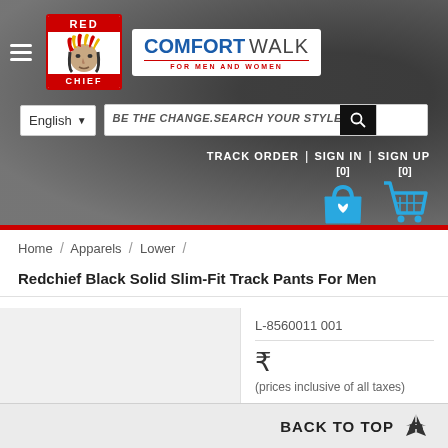[Figure (screenshot): Red Chief brand logo with red border, white background, Native American chief face illustration, RED text on top red banner, CHIEF text on bottom red banner]
[Figure (logo): Comfort Walk logo in blue and gray text with 'FOR MEN AND WOMEN' subtitle in red]
[Figure (screenshot): Navigation header with hamburger menu, search bar with placeholder 'BE THE CHANGE.SEARCH YOUR STYLE.', language selector showing English, TRACK ORDER / SIGN IN / SIGN UP links, wishlist and cart icons with [0] counts]
Home / Apparels / Lower /
Redchief Black Solid Slim-Fit Track Pants For Men
L-8560011 001
₹
(prices inclusive of all taxes)
COLOR -
BACK TO TOP